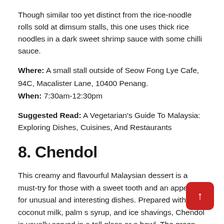Though similar too yet distinct from the rice-noodle rolls sold at dimsum stalls, this one uses thick rice noodles in a dark sweet shrimp sauce with some chilli sauce.
Where: A small stall outside of Seow Fong Lye Cafe, 94C, Macalister Lane, 10400 Penang. When: 7:30am-12:30pm
Suggested Read: A Vegetarian's Guide To Malaysia: Exploring Dishes, Cuisines, And Restaurants
8. Chendol
This creamy and flavourful Malaysian dessert is a must-try for those with a sweet tooth and an appetite for unusual and interesting dishes. Prepared with coconut milk, palm s syrup, and ice shavings, Chendol is usually served in a tall glass or a bowl. The green jelly-like noodles made from mung